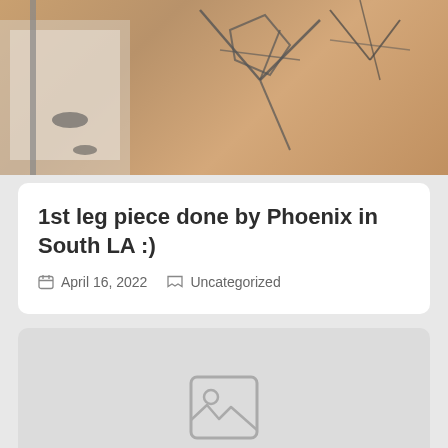[Figure (photo): Close-up photo of a leg tattoo showing geometric line art on skin, with some items visible in the background]
1st leg piece done by Phoenix in South LA :)
April 16, 2022   Uncategorized
[Figure (photo): Placeholder image card with a generic image icon indicating a missing or loading image]